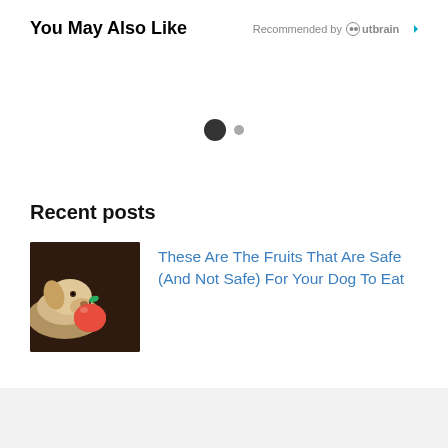You May Also Like
Recommended by Outbrain
[Figure (other): Pagination dots: one large dark filled circle and one smaller grey circle]
Recent posts
[Figure (photo): A white Labrador puppy resting its head on a red apple against a dark brown background]
These Are The Fruits That Are Safe (And Not Safe) For Your Dog To Eat